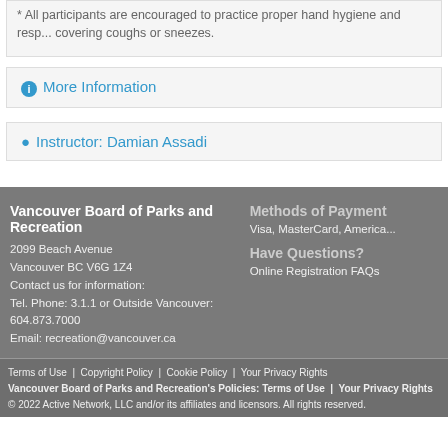* All participants are encouraged to practice proper hand hygiene and respiratory etiquette, including covering coughs or sneezes.
ℹ More Information
👤 Instructor: Damian Assadi
Vancouver Board of Parks and Recreation
2099 Beach Avenue
Vancouver BC V6G 1Z4
Contact us for information:
Tel. Phone: 3.1.1 or Outside Vancouver: 604.873.7000
Email: recreation@vancouver.ca
Methods of Payment
Visa, MasterCard, America...
Have Questions?
Online Registration FAQs
Terms of Use | Copyright Policy | Cookie Policy | Your Privacy Rights
Vancouver Board of Parks and Recreation's Policies: Terms of Use | Your Privacy Rights
© 2022 Active Network, LLC and/or its affiliates and licensors. All rights reserved.